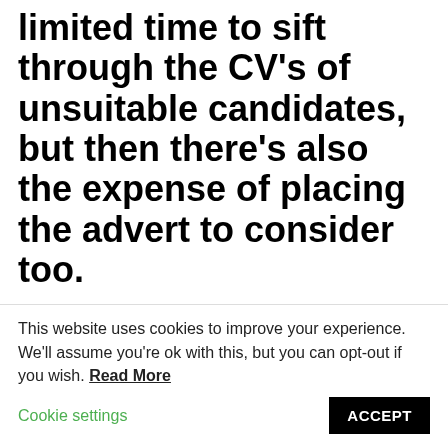limited time to sift through the CV’s of unsuitable candidates, but then there’s also the expense of placing the advert to consider too.
It might be easy to assume that there’s simply no good candidates out there and that’s what explains the amount of poor quality applicants you’ve received for the position.
Fortunately, this isn’t the case. The star quality individuals you’re searching for are out there and it’s
This website uses cookies to improve your experience. We’ll assume you’re ok with this, but you can opt-out if you wish. Read More   Cookie settings   ACCEPT